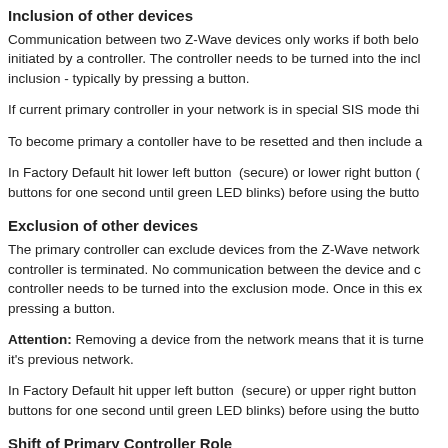Inclusion of other devices
Communication between two Z-Wave devices only works if both belo initiated by a controller. The controller needs to be turned into the incl inclusion - typically by pressing a button.
If current primary controller in your network is in special SIS mode thi
To become primary a contoller have to be resetted and then include a
In Factory Default hit lower left button  (secure) or lower right button ( buttons for one second until green LED blinks) before using the butto
Exclusion of other devices
The primary controller can exclude devices from the Z-Wave network controller is terminated. No communication between the device and c controller needs to be turned into the exclusion mode. Once in this ex pressing a button.
Attention: Removing a device from the network means that it is turne it's previous network.
In Factory Default hit upper left button  (secure) or upper right button buttons for one second until green LED blinks) before using the butto
Shift of Primary Controller Role
The device can hand over its primary role to another controller and be